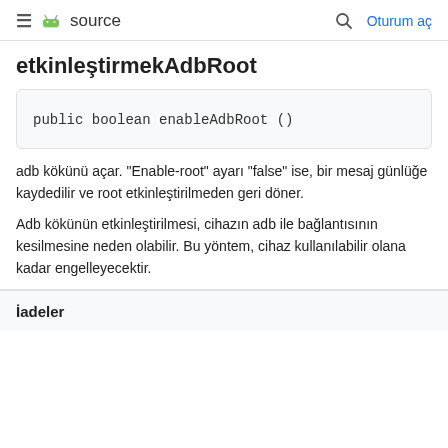≡  source   🔍  Oturum aç
etkinleştirmekAdbRoot
adb kökünü açar. "Enable-root" ayarı "false" ise, bir mesaj günlüğe kaydedilir ve root etkinleştirilmeden geri döner.
Adb kökünün etkinleştirilmesi, cihazın adb ile bağlantısının kesilmesine neden olabilir. Bu yöntem, cihaz kullanılabilir olana kadar engelleyecektir.
İadeler